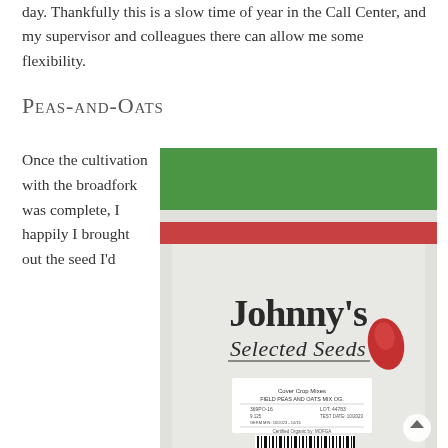day. Thankfully this is a slow time of year in the Call Center, and my supervisor and colleagues there can allow me some flexibility.
Peas-and-Oats
Once the cultivation with the broadfork was complete, I happily I brought out the seed I'd
[Figure (photo): A bag of Johnny's Selected Seeds, specifically a 'Cover Crop Mixes: Field Peas and Oats Mix Og.' product, shown with green top closure and white labeled bag body with the Johnny's Selected Seeds logo and a red seed pod graphic.]